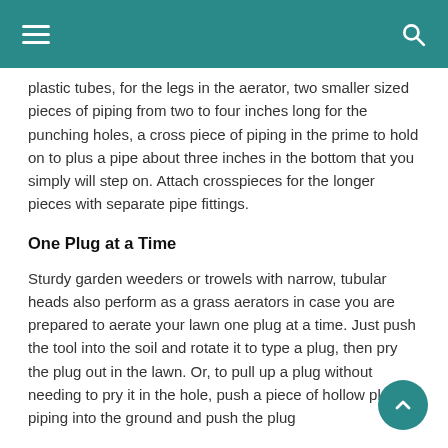plastic tubes, for the legs in the aerator, two smaller sized pieces of piping from two to four inches long for the punching holes, a cross piece of piping in the prime to hold on to plus a pipe about three inches in the bottom that you simply will step on. Attach crosspieces for the longer pieces with separate pipe fittings.
One Plug at a Time
Sturdy garden weeders or trowels with narrow, tubular heads also perform as a grass aerators in case you are prepared to aerate your lawn one plug at a time. Just push the tool into the soil and rotate it to type a plug, then pry the plug out in the lawn. Or, to pull up a plug without needing to pry it in the hole, push a piece of hollow plastic piping into the ground and push the plug